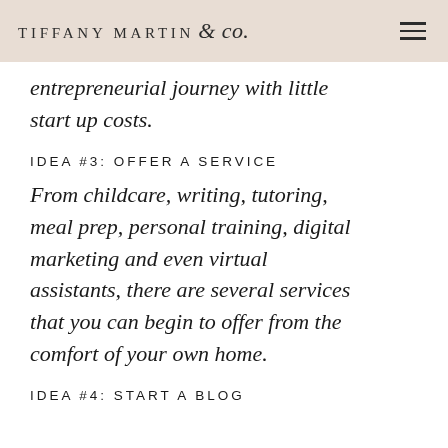TIFFANY MARTIN & co.
entrepreneurial journey with little start up costs.
IDEA #3: OFFER A SERVICE
From childcare, writing, tutoring, meal prep, personal training, digital marketing and even virtual assistants, there are several services that you can begin to offer from the comfort of your own home.
IDEA #4: START A BLOG